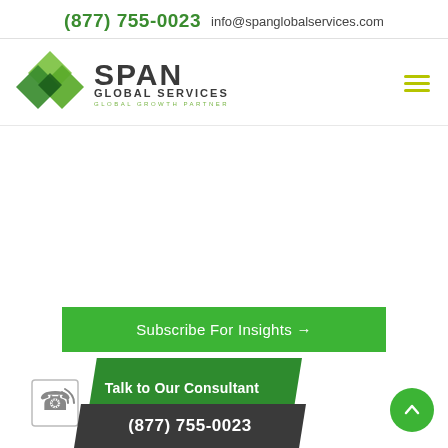(877) 755-0023   info@spanglobalservices.com
[Figure (logo): Span Global Services logo with green diamond shapes and text 'SPAN GLOBAL SERVICES GLOBAL GROWTH PARTNER']
Subscribe For Insights →
Talk to Our Consultant
(877) 755-0023